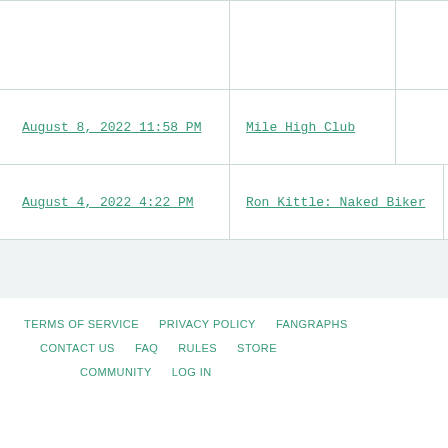| Date | Title | Extra |
| --- | --- | --- |
|  |  |  |
| August 8, 2022 11:58 PM | Mile High Club |  |
| August 4, 2022 4:22 PM | Ron Kittle: Naked Biker | R... |
TERMS OF SERVICE   PRIVACY POLICY   FANGRAPHS   CONTACT US   FAQ   RULES   STORE   COMMUNITY   LOG IN